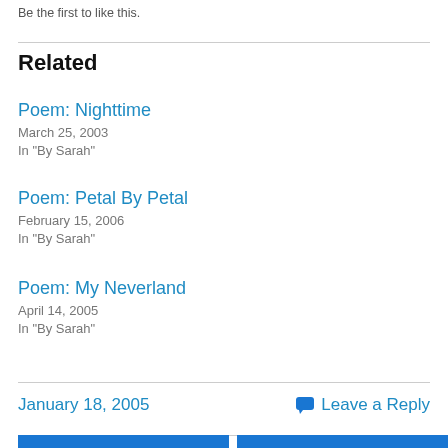Be the first to like this.
Related
Poem: Nighttime
March 25, 2003
In "By Sarah"
Poem: Petal By Petal
February 15, 2006
In "By Sarah"
Poem: My Neverland
April 14, 2005
In "By Sarah"
January 18, 2005
Leave a Reply